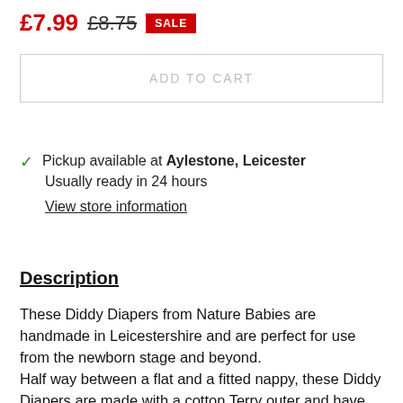£7.99 £8.75 SALE
ADD TO CART
Pickup available at Aylestone, Leicester
Usually ready in 24 hours
View store information
Description
These Diddy Diapers from Nature Babies are handmade in Leicestershire and are perfect for use from the newborn stage and beyond.
Half way between a flat and a fitted nappy, these Diddy Diapers are made with a cotton Terry outer and have two layers of absorbency inside with the wet zone